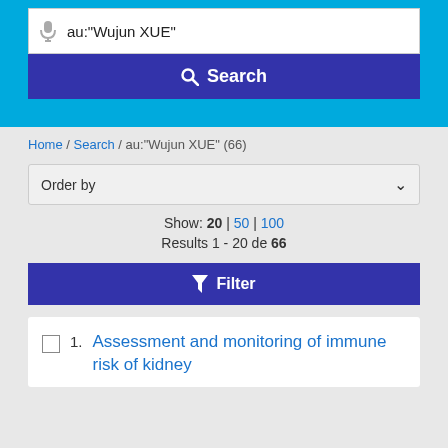au:"Wujun XUE"
Search
Home / Search / au:"Wujun XUE" (66)
Order by
Show: 20 | 50 | 100
Results 1 - 20 de 66
Filter
1. Assessment and monitoring of immune risk of kidney